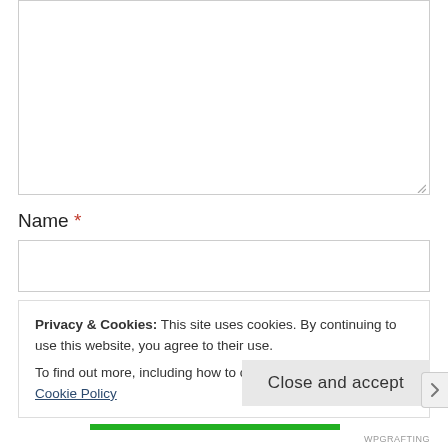[Figure (screenshot): Empty textarea input box with resize handle at bottom-right corner]
Name *
[Figure (screenshot): Empty text input field for Name]
Privacy & Cookies: This site uses cookies. By continuing to use this website, you agree to their use.
To find out more, including how to control cookies, see here: Cookie Policy
Close and accept